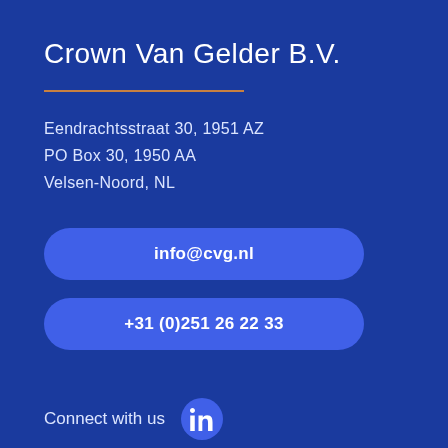Crown Van Gelder B.V.
Eendrachtsstraat 30, 1951 AZ
PO Box 30, 1950 AA
Velsen-Noord, NL
info@cvg.nl
+31 (0)251 26 22 33
Connect with us